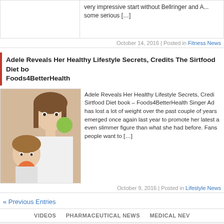very impressive start without Bellringer and A... some serious [...]
October 14, 2016 | Posted in Fitness News
Adele Reveals Her Healthy Lifestyle Secrets, Credits The Sirtfood Diet book – Foods4BetterHealth
[Figure (photo): Woman and child eating fruit (apple and peach)]
Adele Reveals Her Healthy Lifestyle Secrets, Credits The Sirtfood Diet book – Foods4BetterHealth Singer Adele has lost a lot of weight over the past couple of years, emerged once again last year to promote her latest a... even slimmer figure than what she had before. Fans people want to [...]
October 9, 2016 | Posted in Lifestyle News
« Previous Entries
VIDEOS   PHARMACEUTICAL NEWS   MEDICAL NEWS
Copyright 2011-2013, www.EHealthJour...